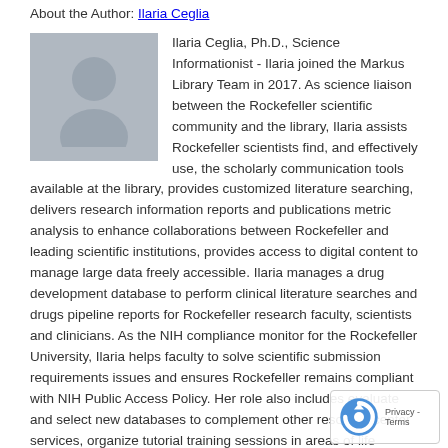About the Author: Ilaria Ceglia
Ilaria Ceglia, Ph.D., Science Informationist - Ilaria joined the Markus Library Team in 2017. As science liaison between the Rockefeller scientific community and the library, Ilaria assists Rockefeller scientists find, and effectively use, the scholarly communication tools available at the library, provides customized literature searching, delivers research information reports and publications metric analysis to enhance collaborations between Rockefeller and leading scientific institutions, provides access to digital content to manage large data freely accessible. Ilaria manages a drug development database to perform clinical literature searches and drugs pipeline reports for Rockefeller research faculty, scientists and clinicians. As the NIH compliance monitor for the Rockefeller University, Ilaria helps faculty to solve scientific submission requirements issues and ensures Rockefeller remains compliant with NIH Public Access Policy. Her role also includes evaluate and select new databases to complement other resource center services, organize tutorial training sessions in areas of life sciences and on the use of reference management platforms F1000 Workspace, Scopus, Web of Science and PubMed literature searching, managing recommendation readings library blog for b and special seminars. Ilaria is a neuroscientist and a former Rockefeller